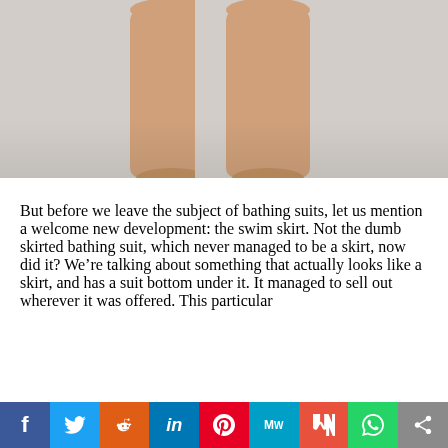[Figure (photo): Close-up photo of a person's bare legs against a light gray background, showing legs from upper thigh down, suggesting a fashion/swimwear article context.]
But before we leave the subject of bathing suits, let us mention a welcome new development: the swim skirt. Not the dumb skirted bathing suit, which never managed to be a skirt, now did it? We're talking about something that actually looks like a skirt, and has a suit bottom under it. It managed to sell out wherever it was offered. This particular
[Figure (infographic): Social media sharing bar with buttons for Facebook, Twitter, Reddit, LinkedIn, Pinterest, MeWe, Mix, WhatsApp, and a share icon.]